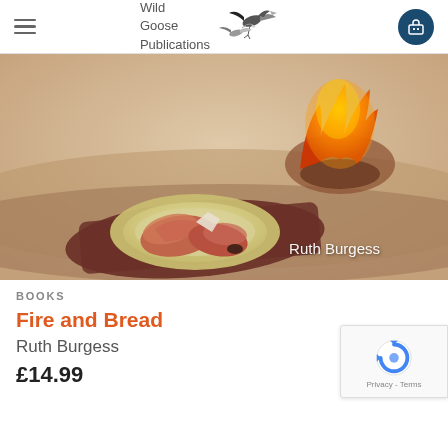Wild Goose Publications — navigation header with hamburger menu and cart icon
[Figure (photo): Book cover for 'Fire and Bread' by Ruth Burgess — painted artwork showing bread rolls on a plate on a dark cloth, with a flaming object in the background against a sandy/misty landscape. Author name 'Ruth Burgess' appears in white text on the cover.]
BOOKS
Fire and Bread
Ruth Burgess
£14.99